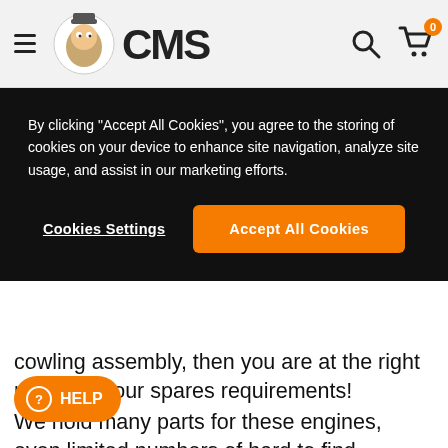CMS
By clicking "Accept All Cookies", you agree to the storing of cookies on your device to enhance site navigation, analyze site usage, and assist in our marketing efforts.
Cookies Settings | Accept All Cookies
cowling assembly, then you are at the right place for your spares requirements!
We hold many parts for these engines, even limited numbers of hard to find components that have been out of production for many years.
On top of our comprehensive stock we offer an international shipping service to more than sixty co...bally.
Mo...ated components you may wish to consider, mechanical & cosmetic: